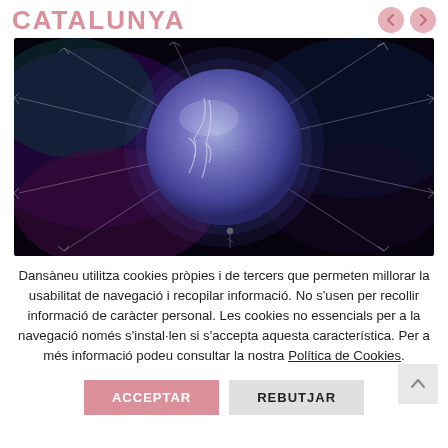CATALUNYA
[Figure (photo): Dark space/abstract image with a large blue-violet glowing sphere/globe in the center against a dark background with purple and teal light effects and white line geometries]
Dansàneu utilitza cookies pròpies i de tercers que permeten millorar la usabilitat de navegació i recopilar informació. No s'usen per recollir informació de caràcter personal. Les cookies no essencials per a la navegació només s'instal·len si s'accepta aquesta característica. Per a més informació podeu consultar la nostra Política de Cookies.
ACCEPTAR
REBUTJAR